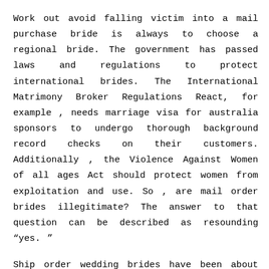Work out avoid falling victim into a mail purchase bride is always to choose a regional bride. The government has passed laws and regulations to protect international brides. The International Matrimony Broker Regulations React, for example , needs marriage visa for australia sponsors to undergo thorough background record checks on their customers. Additionally , the Violence Against Women of all ages Act should protect women from exploitation and use. So , are mail order brides illegitimate? The answer to that question can be described as resounding “yes. ”
Ship order wedding brides have been about for centuries and get a necessity for men who want to explore new countries. While all mail order wedding brides are not against the law in their current form, they are really still controlled by certain regulations. Regardless, it is just a